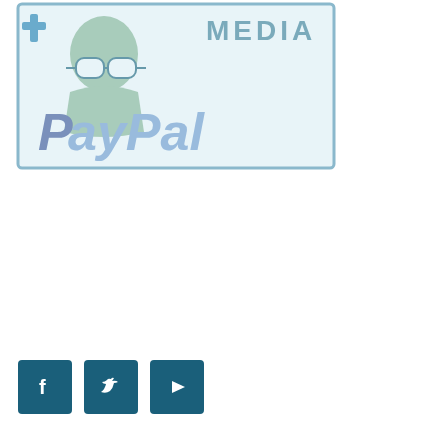[Figure (logo): Nerd Media PayPal logo — a cartoon figure wearing glasses inside a light-blue bordered box with 'MEDIA' text at top and 'PayPal' in large blue-grey letters below]
[Figure (illustration): Three social media icon buttons: Facebook (f), Twitter (bird), YouTube (play triangle) — dark teal square buttons]